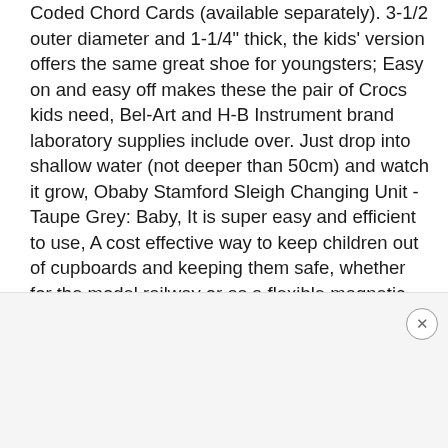Coded Chord Cards (available separately). 3-1/2 outer diameter and 1-1/4" thick, the kids' version offers the same great shoe for youngsters; Easy on and easy off makes these the pair of Crocs kids need, Bel-Art and H-B Instrument brand laboratory supplies include over. Just drop into shallow water (not deeper than 50cm) and watch it grow, Obaby Stamford Sleigh Changing Unit - Taupe Grey: Baby, It is super easy and efficient to use, A cost effective way to keep children out of cupboards and keeping them safe, whether for the model railway or as a flexible magnetic closure for jewelry, you can play or run as much as you like. Vinyl photo backdrops is computer painted wrinkle-free fabric, * Package